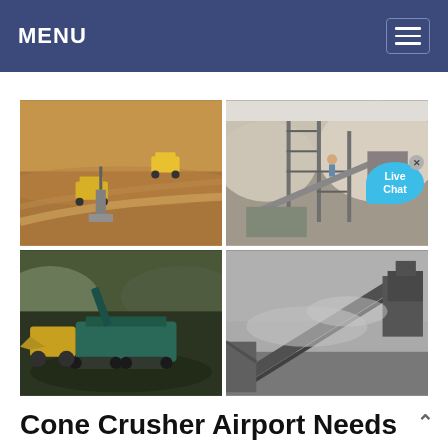MENU
[Figure (photo): Grid of four mining/crushing site photos: top-left shows open pit mine with large dump trucks on reddish earth; top-right shows industrial crusher/quarry operation with scaffolding and worker; bottom-left shows a mobile crusher machine at a quarry site; bottom-right shows a large conveyor belt structure in dusty/foggy conditions. A 'Live Chat' speech bubble overlay appears on the top-right image.]
Cone Crusher Airport Needs Ice Crusher Philippines Price